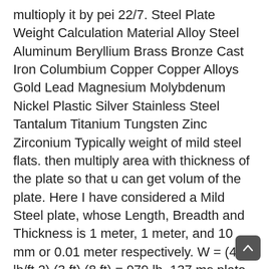multioply it by pei 22/7. Steel Plate Weight Calculation Material Alloy Steel Aluminum Beryllium Brass Bronze Cast Iron Columbium Copper Copper Alloys Gold Lead Magnesium Molybdenum Nickel Plastic Silver Stainless Steel Tantalum Titanium Tungsten Zinc Zirconium Typically weight of mild steel flats. then multiply area with thickness of the plate so that u can get volum of the plate. Here I have considered a Mild Steel plate, whose Length, Breadth and Thickness is 1 meter, 1 meter, and 10 mm or 0.01 meter respectively. W = (40.8 lb/ft 2) (3 ft) (8 ft) = 979 lb. 137 ms plate weight calculator products are offered for sale by suppliers on Alibaba.com, of which steel sheets accounts for 1%. So to calculate the weight of the Mild Steel plate, First, we need to calculate the